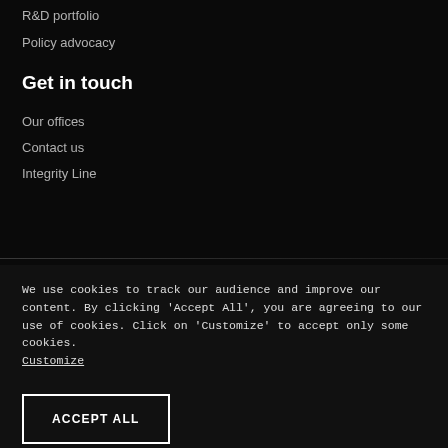R&D portfolio
Policy advocacy
Get in touch
Our offices
Contact us
Integrity Line
We use cookies to track our audience and improve our content. By clicking 'Accept All', you are agreeing to our use of cookies. Click on 'Customize' to accept only some cookies. Customize
ACCEPT ALL